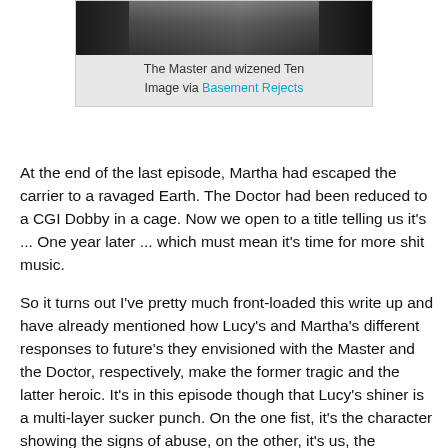[Figure (photo): Partial photo showing The Master and wizened Ten, dark cinematic scene]
The Master and wizened Ten
Image via Basement Rejects
At the end of the last episode, Martha had escaped the carrier to a ravaged Earth. The Doctor had been reduced to a CGI Dobby in a cage. Now we open to a title telling us it's ... One year later ... which must mean it's time for more shit music.
So it turns out I've pretty much front-loaded this write up and have already mentioned how Lucy's and Martha's different responses to future's they envisioned with the Master and the Doctor, respectively, make the former tragic and the latter heroic. It's in this episode though that Lucy's shiner is a multi-layer sucker punch. On the one fist, it's the character showing the signs of abuse, on the other, it's us, the viewers, seeing the Master no longer as super-villain, a megalomaniacal archnemesis for our hero, rather, facing the realization he's a more mundane and commonplace evil: a garden variety wife beater.